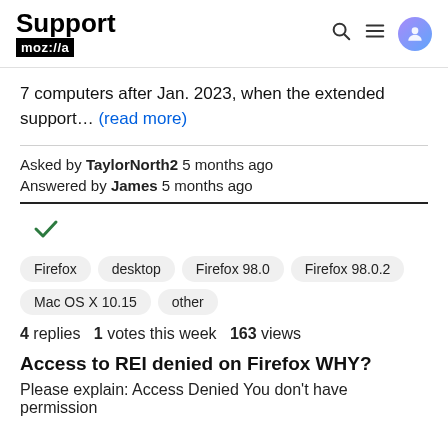Support moz://a
7 computers after Jan. 2023, when the extended support… (read more)
Asked by TaylorNorth2 5 months ago
Answered by James 5 months ago
[Figure (other): Green checkmark indicating accepted answer]
Firefox  desktop  Firefox 98.0  Firefox 98.0.2  Mac OS X 10.15  other
4 replies  1 votes this week  163 views
Access to REI denied on Firefox WHY?
Please explain: Access Denied You don't have permission